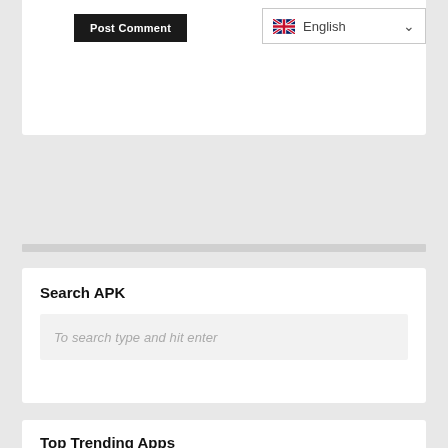[Figure (screenshot): Post Comment button (black) and English language selector dropdown with UK flag]
Search APK
To search type and hit enter
Top Trending Apps
Galeria Motorola APK Download Latest v530036 for Android
Tile Stamper Mod APK Download Latest v0.11 for Android